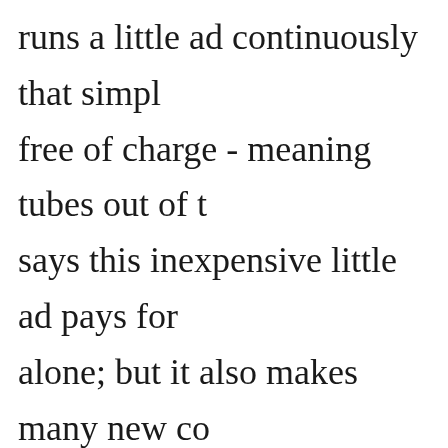runs a little ad continuously that simply free of charge - meaning tubes out of t says this inexpensive little ad pays for alone; but it also makes many new con in several repair jobs when it is found tubes."
"Does Archie think those big-as-a-bed out pay off?"
"Yes, he is convinced that they do. He